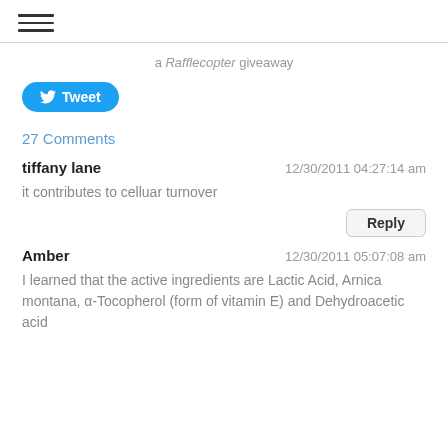≡ (hamburger menu icon)
a Rafflecopter giveaway
[Figure (other): Tweet button with Twitter bird icon]
27 Comments
tiffany lane   12/30/2011 04:27:14 am
it contributes to celluar turnover
Reply
Amber   12/30/2011 05:07:08 am
I learned that the active ingredients are Lactic Acid, Arnica montana, α-Tocopherol (form of vitamin E) and Dehydroacetic acid